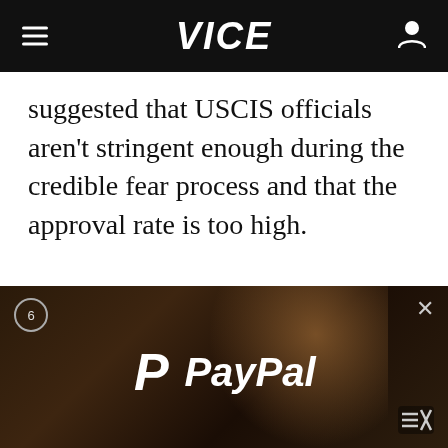VICE
suggested that USCIS officials aren't stringent enough during the credible fear process and that the approval rate is too high.

Asylum officers employed by U.S. Citizenship and Immigration Services started training 60 Border Patrol agents to conduct credible fear screenings in May. At the time, the administration said that would help process
[Figure (photo): PayPal video advertisement overlay showing a woman with curly hair in warm lighting, with PayPal logo (blue P symbol and PayPal text in white italic bold). Counter showing 6, close X button, and mute icon visible.]